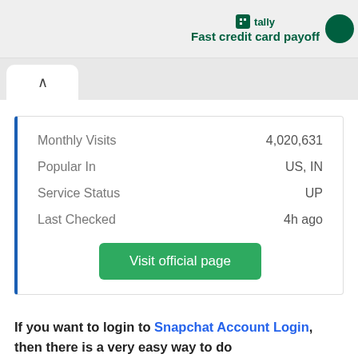tally Fast credit card payoff
|  |  |
| --- | --- |
| Monthly Visits | 4,020,631 |
| Popular In | US, IN |
| Service Status | UP |
| Last Checked | 4h ago |
Visit official page
If you want to login to Snapchat Account Login, then there is a very easy way to do